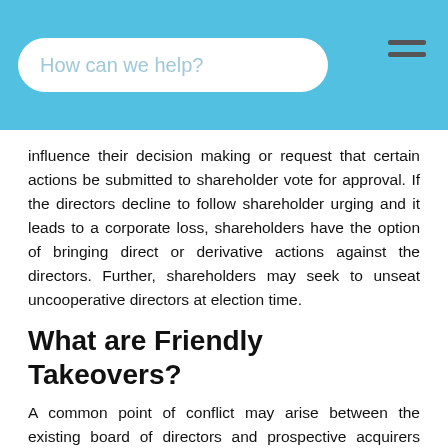How can we help?
influence their decision making or request that certain actions be submitted to shareholder vote for approval. If the directors decline to follow shareholder urging and it leads to a corporate loss, shareholders have the option of bringing direct or derivative actions against the directors. Further, shareholders may seek to unseat uncooperative directors at election time.
What are Friendly Takeovers?
A common point of conflict may arise between the existing board of directors and prospective acquirers (purchasers of a controlling percentage of outstanding shares) of the corporation. This transaction is known as a corporate takeover or buyout. A takeover is where third parties purchase the outstanding shares of corporate